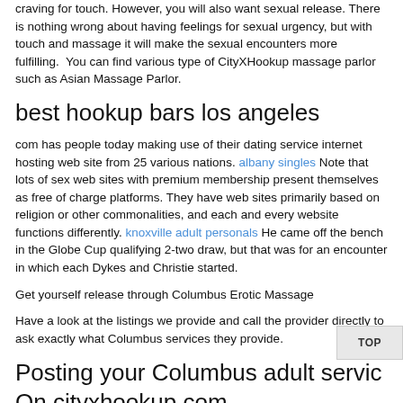craving for touch. However, you will also want sexual release. There is nothing wrong about having feelings for sexual urgency, but with touch and massage it will make the sexual encounters more fulfilling.  You can find various type of CityXHookup massage parlor such as Asian Massage Parlor.
best hookup bars los angeles
com has people today making use of their dating service internet hosting web site from 25 various nations. albany singles Note that lots of sex web sites with premium membership present themselves as free of charge platforms. They have web sites primarily based on religion or other commonalities, and each and every website functions differently. knoxville adult personals He came off the bench in the Globe Cup qualifying 2-two draw, but that was for an encounter in which each Dykes and Christie started.
Get yourself release through Columbus Erotic Massage
Have a look at the listings we provide and call the provider directly to ask exactly what Columbus services they provide.
Posting your Columbus adult servic
On cityxhookup.com